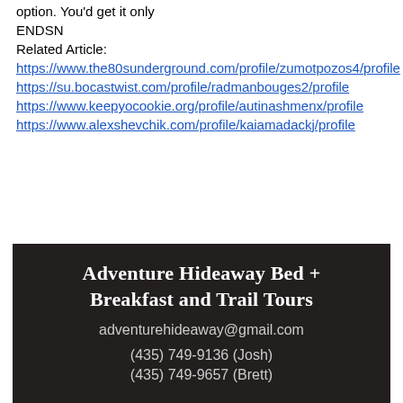option. You'd get it only
ENDSN
Related Article:
https://www.the80sunderground.com/profile/zumotpozos4/profile
https://su.bocastwist.com/profile/radmanbouges2/profile
https://www.keepyocookie.org/profile/autinashmenx/profile
https://www.alexshevchik.com/profile/kaiamadackj/profile
[Figure (other): Dark footer banner for Adventure Hideaway Bed + Breakfast and Trail Tours with contact information: adventurehideaway@gmail.com, (435) 749-9136 (Josh), (435) 749-9657 (Brett)]